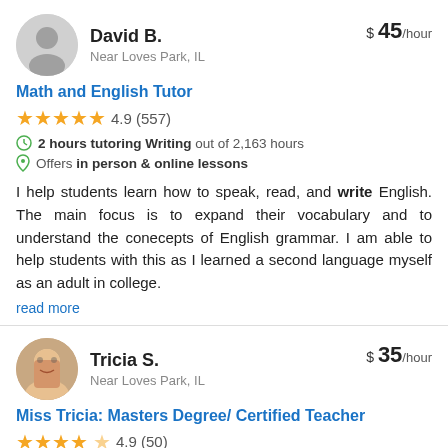David B.
Near Loves Park, IL
$ 45/hour
Math and English Tutor
4.9 (557)
2 hours tutoring Writing out of 2,163 hours
Offers in person & online lessons
I help students learn how to speak, read, and write English. The main focus is to expand their vocabulary and to understand the conecepts of English grammar. I am able to help students with this as I learned a second language myself as an adult in college.
read more
Tricia S.
Near Loves Park, IL
$ 35/hour
Miss Tricia: Masters Degree/ Certified Teacher
4.9 (50)